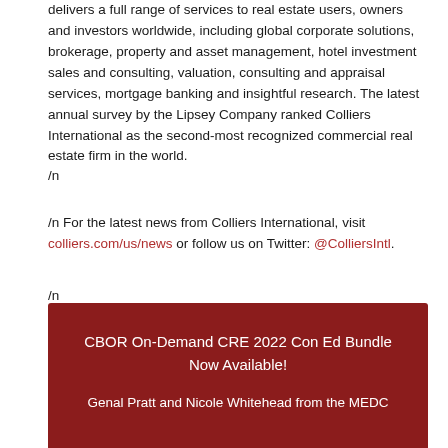delivers a full range of services to real estate users, owners and investors worldwide, including global corporate solutions, brokerage, property and asset management, hotel investment sales and consulting, valuation, consulting and appraisal services, mortgage banking and insightful research. The latest annual survey by the Lipsey Company ranked Colliers International as the second-most recognized commercial real estate firm in the world.
/n
/n For the latest news from Colliers International, visit colliers.com/us/news or follow us on Twitter: @ColliersIntl.
/n
CBOR On-Demand CRE 2022 Con Ed Bundle Now Available!
Genal Pratt and Nicole Whitehead from the MEDC